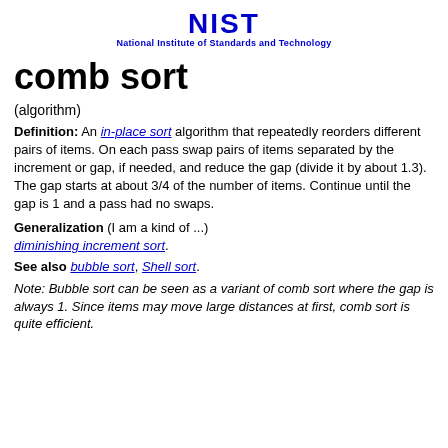[Figure (logo): NIST logo with text 'National Institute of Standards and Technology']
comb sort
(algorithm)
Definition: An in-place sort algorithm that repeatedly reorders different pairs of items. On each pass swap pairs of items separated by the increment or gap, if needed, and reduce the gap (divide it by about 1.3). The gap starts at about 3/4 of the number of items. Continue until the gap is 1 and a pass had no swaps.
Generalization (I am a kind of ...) diminishing increment sort.
See also bubble sort, Shell sort.
Note: Bubble sort can be seen as a variant of comb sort where the gap is always 1. Since items may move large distances at first, comb sort is quite efficient.